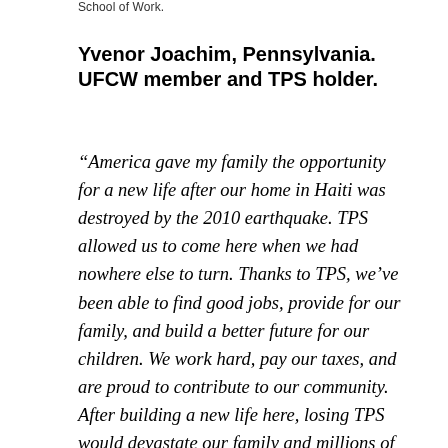School of Work.
Yvenor Joachim, Pennsylvania. UFCW member and TPS holder.
“America gave my family the opportunity for a new life after our home in Haiti was destroyed by the 2010 earthquake. TPS allowed us to come here when we had nowhere else to turn. Thanks to TPS, we’ve been able to find good jobs, provide for our family, and build a better future for our children. We work hard, pay our taxes, and are proud to contribute to our community. After building a new life here, losing TPS would devastate our family and millions of families like ours. I stand with all TPS